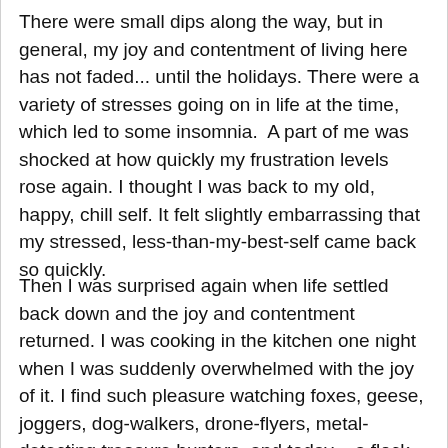There were small dips along the way, but in general, my joy and contentment of living here has not faded... until the holidays. There were a variety of stresses going on in life at the time, which led to some insomnia. A part of me was shocked at how quickly my frustration levels rose again. I thought I was back to my old, happy, chill self. It felt slightly embarrassing that my stressed, less-than-my-best-self came back so quickly.
Then I was surprised again when life settled back down and the joy and contentment returned. I was cooking in the kitchen one night when I was suddenly overwhelmed with the joy of it. I find such pleasure watching foxes, geese, joggers, dog-walkers, drone-flyers, metal-detecting treasure hunters, and today – a flock of turkey vultures, doing their thing in the park across the street. After having an LA-style 45-minute